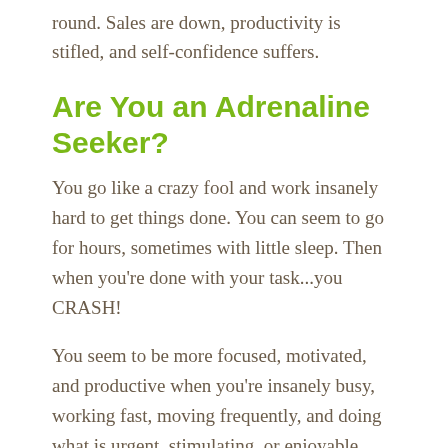round. Sales are down, productivity is stifled, and self-confidence suffers.
Are You an Adrenaline Seeker?
You go like a crazy fool and work insanely hard to get things done. You can seem to go for hours, sometimes with little sleep. Then when you're done with your task...you CRASH!
You seem to be more focused, motivated, and productive when you're insanely busy, working fast, moving frequently, and doing what is urgent, stimulating, or enjoyable.  When you procrastinate, you push the limits. This last minute head rush (the surge of brain chemicals you get from stress) helps you focus for completing the deadline.  Without the